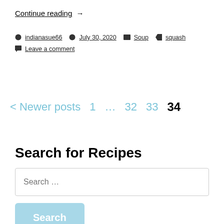Continue reading →
indianasue66  July 30, 2020  Soup  squash  Leave a comment
< Newer posts  1  ...  32  33  34
Search for Recipes
Search ...
Search